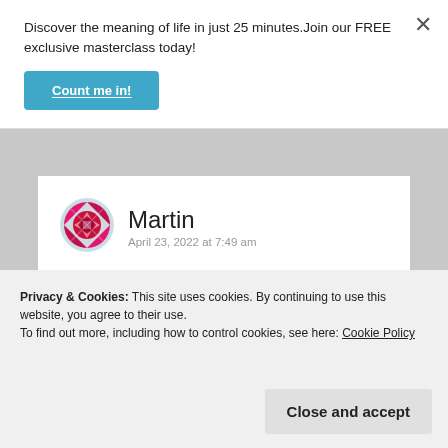Discover the meaning of life in just 25 minutes.Join our FREE exclusive masterclass today!
Count me in!
[Figure (logo): Red decorative circular emblem/avatar icon for user Martin]
Martin
April 23, 2022 at 7:49 am
Peace and love to all in Christ Jesus, the only name given under heaven whereby men will find salvation.
needeth not to be ashamed, rightly
Privacy & Cookies: This site uses cookies. By continuing to use this website, you agree to their use.
To find out more, including how to control cookies, see here: Cookie Policy
Close and accept